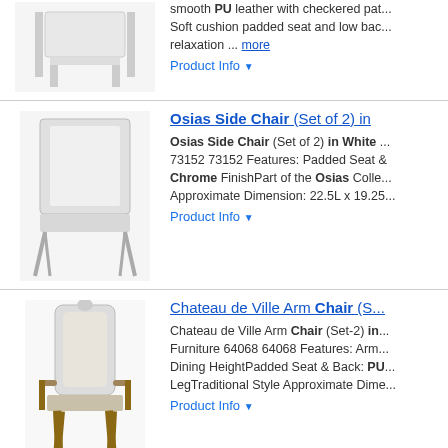[Figure (photo): White chair product photo - partial top row]
smooth PU leather with checkered pa... Soft cushion padded seat and low ba... relaxation ... more
Product Info ▼
Osias Side Chair (Set of 2) in...
[Figure (photo): Osias Side Chair white with chrome frame product photo]
Osias Side Chair (Set of 2) in White ... 73152 73152 Features: Padded Seat & Chrome FinishPart of the Osias Colle... Approximate Dimension: 22.5L x 19.25...
Product Info ▼
Chateau de Ville Arm Chair (S...
[Figure (photo): Chateau de Ville traditional arm chair with wood legs product photo]
Chateau de Ville Arm Chair (Set-2) in... Furniture 64068 64068 Features: Arm... Dining HeightPadded Seat & Back: PU... LegTraditional Style Approximate Dime...
Product Info ▼
Parkston 18"H Linen Side Cha...
[Figure (photo): Parkston grey linen side chairs set of two with chrome cantilever base]
Parkston 18"H Linen Side Chair in Da... FOX2013J-SET2 Designed for the mo... set of two side chairs in grey linen wi... London's posh dining scene. ... more
Product Info ▼
ACME Hussein Side Chair in...
[Figure (photo): ACME Hussein side chair partial image at bottom]
This perfectly-designed dining chair s...